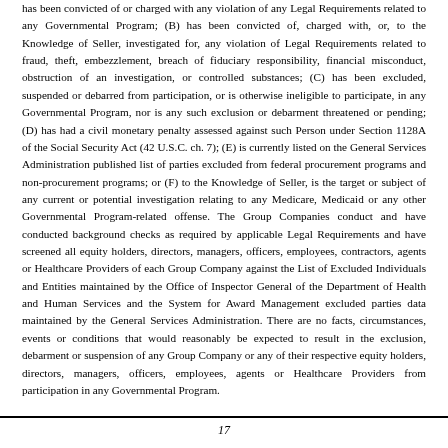has been convicted of or charged with any violation of any Legal Requirements related to any Governmental Program; (B) has been convicted of, charged with, or, to the Knowledge of Seller, investigated for, any violation of Legal Requirements related to fraud, theft, embezzlement, breach of fiduciary responsibility, financial misconduct, obstruction of an investigation, or controlled substances; (C) has been excluded, suspended or debarred from participation, or is otherwise ineligible to participate, in any Governmental Program, nor is any such exclusion or debarment threatened or pending; (D) has had a civil monetary penalty assessed against such Person under Section 1128A of the Social Security Act (42 U.S.C. ch. 7); (E) is currently listed on the General Services Administration published list of parties excluded from federal procurement programs and non-procurement programs; or (F) to the Knowledge of Seller, is the target or subject of any current or potential investigation relating to any Medicare, Medicaid or any other Governmental Program-related offense. The Group Companies conduct and have conducted background checks as required by applicable Legal Requirements and have screened all equity holders, directors, managers, officers, employees, contractors, agents or Healthcare Providers of each Group Company against the List of Excluded Individuals and Entities maintained by the Office of Inspector General of the Department of Health and Human Services and the System for Award Management excluded parties data maintained by the General Services Administration. There are no facts, circumstances, events or conditions that would reasonably be expected to result in the exclusion, debarment or suspension of any Group Company or any of their respective equity holders, directors, managers, officers, employees, agents or Healthcare Providers from participation in any Governmental Program.
17